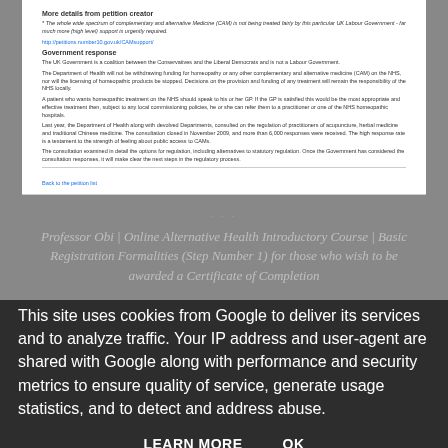More details from petition creator
* The whole wide spectrum of complementary and alternative Medicine (CAM) is not being treated fairly by this particular UK Labour Government - far much more (high level) support is urgently required.
http://petitions.number10.gov.uk/CAMsupport/
Government response
The UK Government is a coalition between the Conservatives and the Liberal Democrats and is not a Labour Government.
The Department of Health will not be withdrawing funding for homeopathy or any other complementary and alternative medicine (CAM) on the NHS, nor will the licensing of homeopathic products be stopped. Decisions on the provision and funding of any treatment will remain the responsibility of the NHS locally.
A patient who wants homeopathic treatment on the NHS should speak to his or her GP. If the GP is satisfied this would be the most appropriate and effective treatment then, subject to any local commissioning policies, he or she can refer them to a practitioner or one of the NHS homeopathic hospitals.
Last year, the Department of Health along with devolved Departments, consulted on the regulation of practitioners of acupuncture, herbal medicine and traditional Chinese medicine. The consultation closed in November 2009, and more than 6,000 responses were received. The high response rate is a testament to the strength of feeling about public access to CAMs.
The consultation examined in detail the options for regulation, including alternatives to statutory regulation. Once the Government has considered the consultation responses, it will make clear the next steps in the regulatory process.
Back to the petition list
[Figure (screenshot): Watermarked italic text overlay on gray background: 'Professor Obi | Online Alternative Health Introductory Course | Basic Registration Formalities (Step Number 1) for those who wish to be awarded a Certificate of Completion']
This site uses cookies from Google to deliver its services and to analyze traffic. Your IP address and user-agent are shared with Google along with performance and security metrics to ensure quality of service, generate usage statistics, and to detect and address abuse.
LEARN MORE    OK